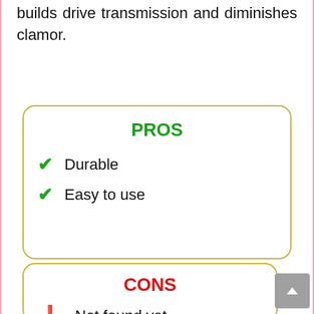builds drive transmission and diminishes clamor.
PROS
Durable
Easy to use
CONS
Not found yet